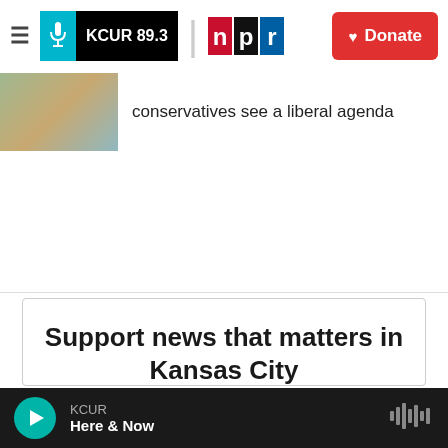KCUR 89.3 | npr | Donate
conservatives see a liberal agenda
Support news that matters in Kansas City
KCUR serves the Kansas City region with breaking news and powerful storytelling. Your donation helps make non-profit journalism
KCUR Here & Now